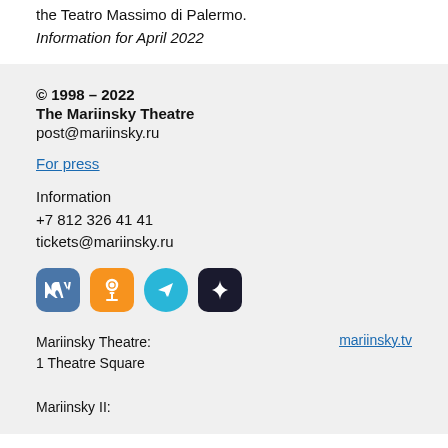the Teatro Massimo di Palermo.
Information for April 2022
© 1998 – 2022
The Mariinsky Theatre
post@mariinsky.ru
For press
Information
+7 812 326 41 41
tickets@mariinsky.ru
[Figure (other): Social media icons: VK (blue rounded square), OK/Odnoklassniki (orange rounded square), Telegram (blue circle), star app (dark rounded square)]
Mariinsky Theatre:
1 Theatre Square

Mariinsky II:
mariinsky.tv